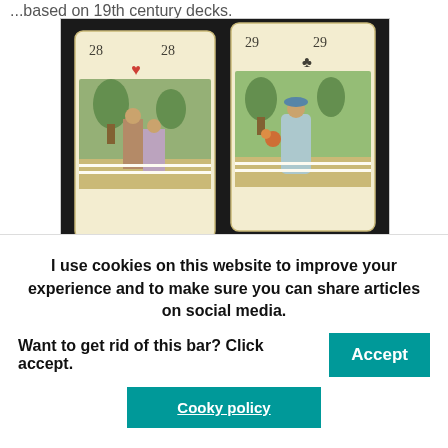[Figure (photo): Two tarot/oracle cards numbered 28 and 29 from the Golden Lenormand Oracle by Lo Scarabeo — card 28 shows a man and woman in a garden with a heart suit symbol, card 29 shows a woman in a blue dress with a club suit symbol]
Man & Woman card in Golden Lenormand Oracle by Lo Scarabeo. You can see that the Dondorf pattern was used.
You could say the gold is the one thing that isn't very typical for traditional decks and this
I use cookies on this website to improve your experience and to make sure you can share articles on social media. Want to get rid of this bar? Click accept.
Cooky policy